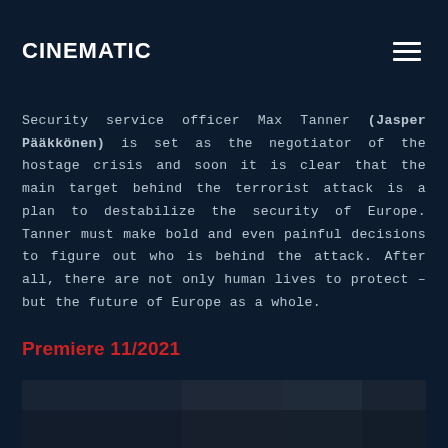CINEMATIC
Security service officer Max Tanner (Jasper Pääkkönen) is set as the negotiator of the hostage crisis and soon it is clear that the main target behind the terrorist attack is a plan to destabilize the security of Europe. Tanner must make bold and even painful decisions to figure out who is behind the attack. After all, there are not only human lives to protect – but the future of Europe as a whole.
Premiere 11/2021
[Figure (photo): Dark scene still from a film, showing figures in a dimly lit environment]